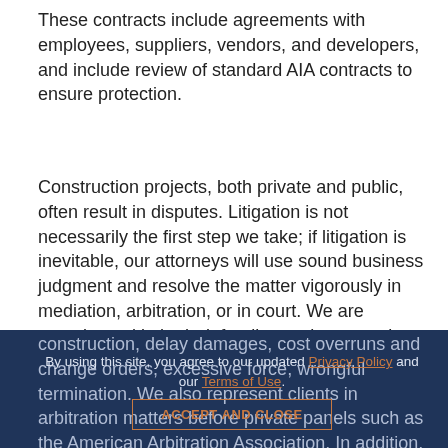These contracts include agreements with employees, suppliers, vendors, and developers, and include review of standard AIA contracts to ensure protection.
Construction projects, both private and public, often result in disputes. Litigation is not necessarily the first step we take; if litigation is inevitable, our attorneys will use sound business judgment and resolve the matter vigorously in mediation, arbitration, or in court. We are experienced in both defending and prosecuting claims in state and federal courts for claims that arise out of construction projects such as payment disputes, lien claims, insurance coverage, defective design or construction, delay damages, cost overruns and change orders, excessive force, wrongful termination. We also represent clients in arbitration matters before private panels such as the American Arbitration Association. In addition, one of the members of our construction law team is a recognized AAA Construction Arbitrator with substantial experience mediating and